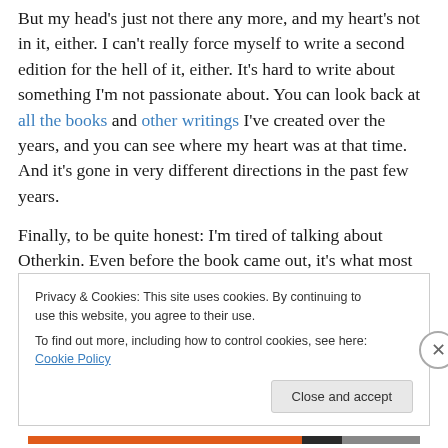But my head's just not there any more, and my heart's not in it, either. I can't really force myself to write a second edition for the hell of it, either. It's hard to write about something I'm not passionate about. You can look back at all the books and other writings I've created over the years, and you can see where my heart was at that time. And it's gone in very different directions in the past few years.
Finally, to be quite honest: I'm tired of talking about Otherkin. Even before the book came out, it's what most...
Privacy & Cookies: This site uses cookies. By continuing to use this website, you agree to their use.
To find out more, including how to control cookies, see here: Cookie Policy